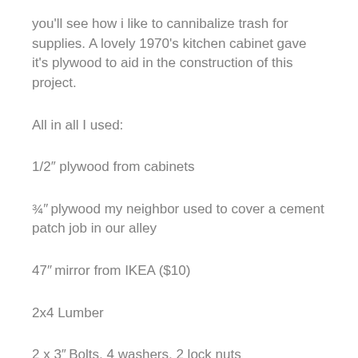you'll see how i like to cannibalize trash for supplies. A lovely 1970's kitchen cabinet gave it's plywood to aid in the construction of this project.
All in all I used:
1/2″ plywood from cabinets
¾″ plywood my neighbor used to cover a cement patch job in our alley
47″ mirror from IKEA ($10)
2x4 Lumber
2 x 3″ Bolts, 4 washers, 2 lock nuts
An assortment of hooks